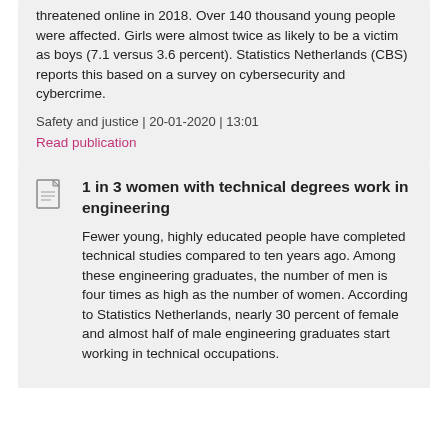threatened online in 2018. Over 140 thousand young people were affected. Girls were almost twice as likely to be a victim as boys (7.1 versus 3.6 percent). Statistics Netherlands (CBS) reports this based on a survey on cybersecurity and cybercrime.
Safety and justice | 20-01-2020 | 13:01
Read publication
1 in 3 women with technical degrees work in engineering
Fewer young, highly educated people have completed technical studies compared to ten years ago. Among these engineering graduates, the number of men is four times as high as the number of women. According to Statistics Netherlands, nearly 30 percent of female and almost half of male engineering graduates start working in technical occupations.